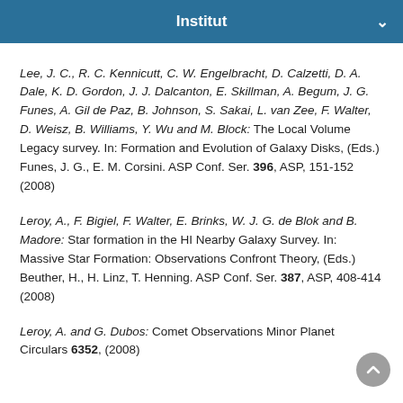Institut
Lee, J. C., R. C. Kennicutt, C. W. Engelbracht, D. Calzetti, D. A. Dale, K. D. Gordon, J. J. Dalcanton, E. Skillman, A. Begum, J. G. Funes, A. Gil de Paz, B. Johnson, S. Sakai, L. van Zee, F. Walter, D. Weisz, B. Williams, Y. Wu and M. Block: The Local Volume Legacy survey. In: Formation and Evolution of Galaxy Disks, (Eds.) Funes, J. G., E. M. Corsini. ASP Conf. Ser. 396, ASP, 151-152 (2008)
Leroy, A., F. Bigiel, F. Walter, E. Brinks, W. J. G. de Blok and B. Madore: Star formation in the HI Nearby Galaxy Survey. In: Massive Star Formation: Observations Confront Theory, (Eds.) Beuther, H., H. Linz, T. Henning. ASP Conf. Ser. 387, ASP, 408-414 (2008)
Leroy, A. and G. Dubos: Comet Observations Minor Planet Circulars 6352, (2008)